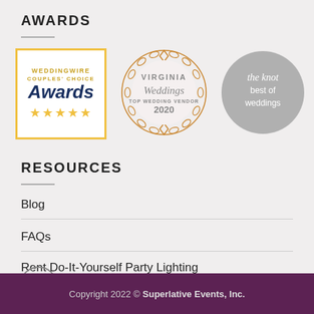AWARDS
[Figure (logo): WeddingWire Couples' Choice Awards with 5 gold stars in a gold-bordered white box]
[Figure (logo): Virginia Weddings Top Wedding Vendor 2020 badge with orange laurel wreath]
[Figure (logo): The Knot Best of Weddings grey circular badge]
RESOURCES
Blog
FAQs
Rent Do-It-Yourself Party Lighting
Copyright 2022 © Superlative Events, Inc.